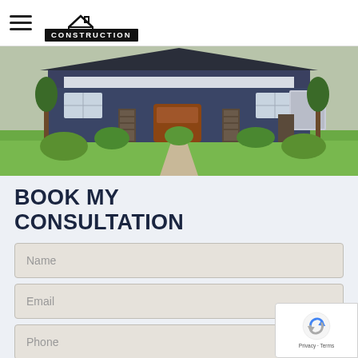Solid State Construction — navigation header with hamburger menu and logo
[Figure (photo): Exterior photo of a house with blue/gray siding, stone pillars, wooden front door, lush green lawn and landscaping with shrubs and trees]
BOOK MY CONSULTATION
Name (form field placeholder)
Email (form field placeholder)
Phone (form field placeholder)
I'm Interested In...